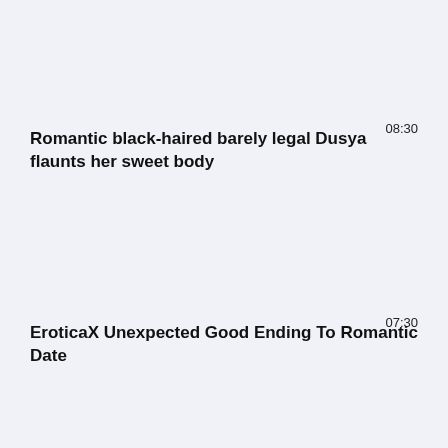08:30
Romantic black-haired barely legal Dusya flaunts her sweet body
07:30
EroticaX Unexpected Good Ending To Romantic Date